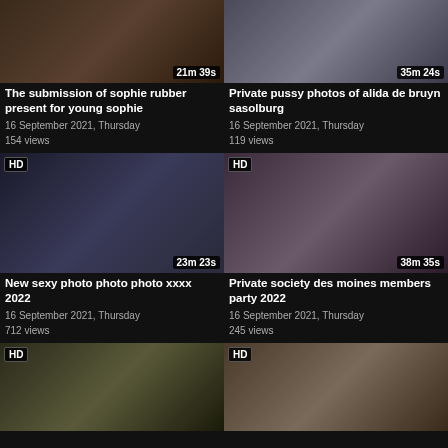[Figure (screenshot): Video thumbnail for 'The submission of sophie rubber present for young sophie', duration 21m 39s]
[Figure (screenshot): Video thumbnail for 'Private pussy photos of alida de bruyn sasolburg', duration 35m 24s]
The submission of sophie rubber present for young sophie
16 September 2021, Thursday
154 views
Private pussy photos of alida de bruyn sasolburg
16 September 2021, Thursday
119 views
[Figure (screenshot): HD video thumbnail for 'New sexy photo photo photo xxxx 2022', duration 23m 23s]
[Figure (screenshot): HD video thumbnail for 'Private society des moines members party 2022', duration 38m 35s]
New sexy photo photo photo xxxx 2022
16 September 2021, Thursday
712 views
Private society des moines members party 2022
16 September 2021, Thursday
245 views
[Figure (screenshot): HD video thumbnail, bottom left card]
[Figure (screenshot): HD video thumbnail, bottom right card]